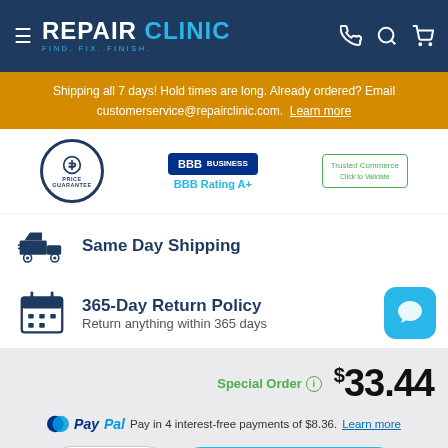REPAIR CLINIC - FIND. FIX. FINISH.
Shipping all 7 days! Hold times are long. Already ordered? Email customerservice@repairclinic.com. Learn more
[Figure (logo): Price guarantee badge, BBB Rating A+ badge, Trusted Commerce Click to Validate badge]
Same Day Shipping
365-Day Return Policy
Return anything within 365 days
Special Order  $33.44
PayPal Pay in 4 interest-free payments of $8.36. Learn more
1  ADD TO CART